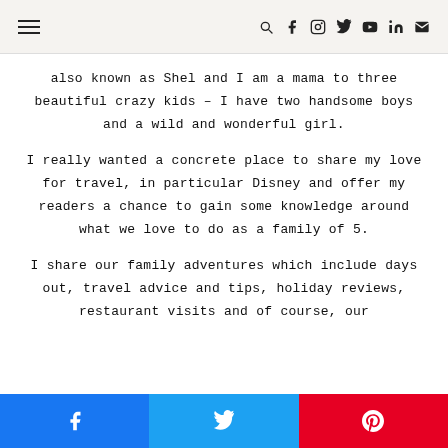Navigation header with hamburger menu and social icons (search, facebook, instagram, twitter, youtube, linkedin, mail)
also known as Shel and I am a mama to three beautiful crazy kids – I have two handsome boys and a wild and wonderful girl.
I really wanted a concrete place to share my love for travel, in particular Disney and offer my readers a chance to gain some knowledge around what we love to do as a family of 5.
I share our family adventures which include days out, travel advice and tips, holiday reviews, restaurant visits and of course, our
Share buttons: Facebook, Twitter, Pinterest